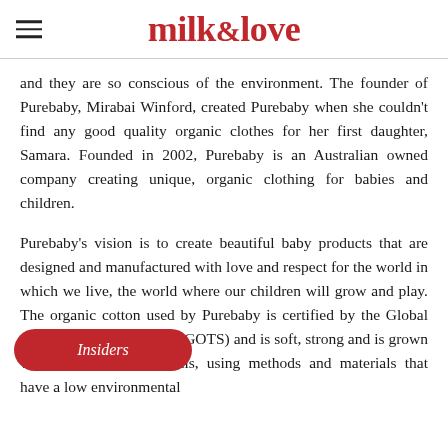milk & love
and they are so conscious of the environment. The founder of Purebaby, Mirabai Winford, created Purebaby when she couldn't find any good quality organic clothes for her first daughter, Samara. Founded in 2002, Purebaby is an Australian owned company creating unique, organic clothing for babies and children.
Purebaby's vision is to create beautiful baby products that are designed and manufactured with love and respect for the world in which we live, the world where our children will grow and play. The organic cotton used by Purebaby is certified by the Global Organic Textile Standard (GOTS) and is soft, strong and is grown without harmful chemicals, using methods and materials that have a low environmental
[Figure (other): Red oval button labeled 'Insiders' in italic white text, positioned at the bottom-left of the page]